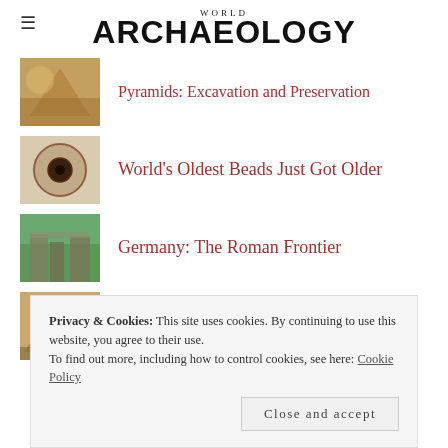WORLD ARCHAEOLOGY
Pyramids: Excavation and Preservation
World's Oldest Beads Just Got Older
Germany: The Roman Frontier
7 facts about the 7 Wonders of the World
Privacy & Cookies: This site uses cookies. By continuing to use this website, you agree to their use.
To find out more, including how to control cookies, see here: Cookie Policy
Close and accept